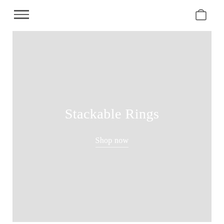[Figure (illustration): Hero banner image with light gray background showing the text 'Stackable Rings' and a 'Shop now' link with underline]
Stackable Rings
Shop now